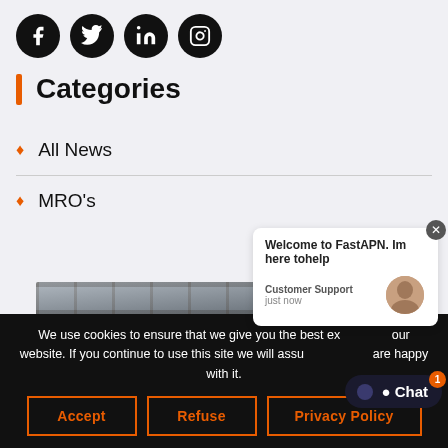[Figure (other): Social media icons: Facebook, Twitter, LinkedIn, Instagram — circular black icons in a row]
Categories
All News
MRO's
[Figure (photo): Photo of aircraft cockpit/understructure viewed from below, with metallic structures and light background]
We use cookies to ensure that we give you the best experience on our website. If you continue to use this site we will assume that you are happy with it.
Accept | Refuse | Privacy Policy
Welcome to FastAPN. Im here tohelp — Customer Support — just now